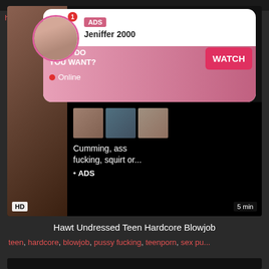[Figure (screenshot): Adult website screenshot showing a video thumbnail with an overlay advertisement featuring a profile photo, ADS badge, name Jeniffer 2000, WHAT DO YOU WANT? text, WATCH button, Online status, thumbnail images, and text about adult content]
hot, p... ne...
Hawt Undressed Teen Hardcore Blowjob
teen, hardcore, blowjob, pussy fucking, teenporn, sex pu...